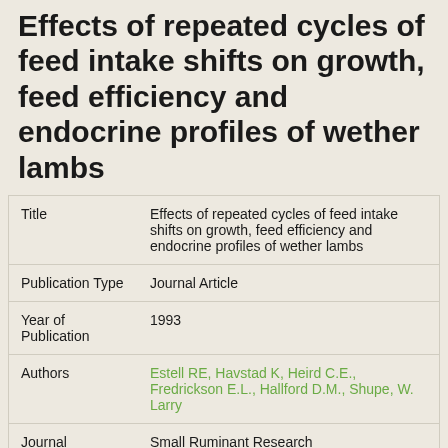Effects of repeated cycles of feed intake shifts on growth, feed efficiency and endocrine profiles of wether lambs
| Field | Value |
| --- | --- |
| Title | Effects of repeated cycles of feed intake shifts on growth, feed efficiency and endocrine profiles of wether lambs |
| Publication Type | Journal Article |
| Year of Publication | 1993 |
| Authors | Estell RE, Havstad K, Heird C.E., Fredrickson E.L., Hallford D.M., Shupe, W. Larry |
| Journal | Small Ruminant Research |